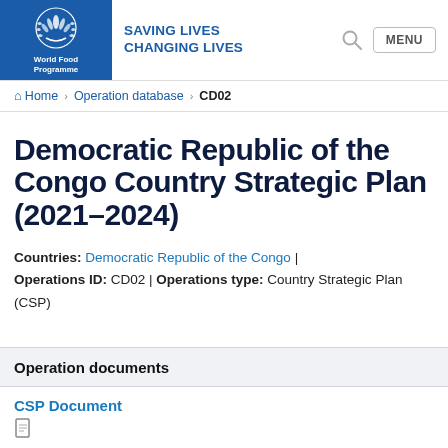[Figure (logo): WFP World Food Programme logo — blue square with white emblem and text]
SAVING LIVES
CHANGING LIVES
Home > Operation database > CD02
Democratic Republic of the Congo Country Strategic Plan (2021–2024)
Countries: Democratic Republic of the Congo | Operations ID: CD02 | Operations type: Country Strategic Plan (CSP)
Operation documents
CSP Document